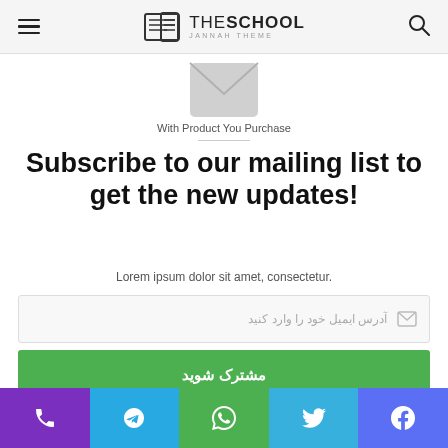THE SCHOOL JANNAH THEME
[Figure (illustration): Envelope/mail icon in light gray]
With Product You Purchase
Subscribe to our mailing list to get the new updates!
Lorem ipsum dolor sit amet, consectetur.
آدرس ایمیل خود را وارد کنید (email input field)
مشترک شوید (Subscribe button)
Social share bar: phone, Telegram, WhatsApp, Twitter, Facebook